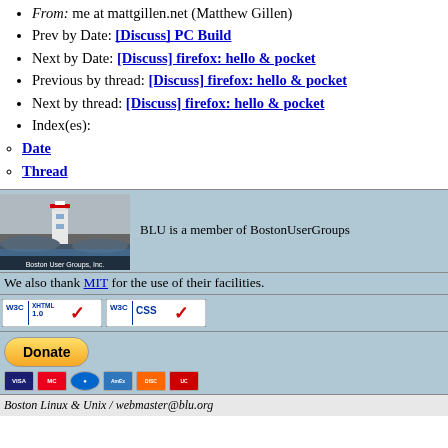From: me at mattgillen.net (Matthew Gillen)
Prev by Date: [Discuss] PC Build
Next by Date: [Discuss] firefox: hello & pocket
Previous by thread: [Discuss] firefox: hello & pocket
Next by thread: [Discuss] firefox: hello & pocket
Index(es):
Date
Thread
[Figure (logo): Boston User Groups, Inc. logo with lighthouse image]
BLU is a member of BostonUserGroups
We also thank MIT for the use of their facilities.
[Figure (logo): W3C XHTML 1.0 validation badge]
[Figure (logo): W3C CSS validation badge]
[Figure (infographic): PayPal Donate button with credit card icons (VISA, MasterCard, Maestro, AmEx, Discover, UnionPay)]
Boston Linux & Unix / webmaster@blu.org